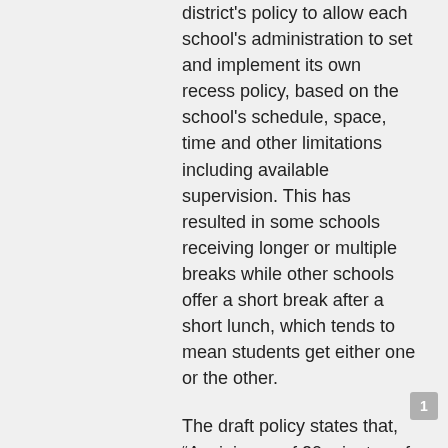district's policy to allow each school's administration to set and implement its own recess policy, based on the school's schedule, space, time and other limitations including available supervision. This has resulted in some schools receiving longer or multiple breaks while other schools offer a short break after a short lunch, which tends to mean students get either one or the other.
The draft policy states that, “A minimum of 20 minutes of physical activity shall be provided by schools for all K-8 students daily. The requirement can be achieved through a regular physical education class and/or through activities such as recess, dance, classroom energizers, or other curriculum-based physical activity programs.”
The policy further states that students should use the time to use the restroom, reenergize and socialize with friends.
Sandi O’Connor has two children at Madison Traditional Academy. “They are given one brief break for lunch. This should not be counted as recess. They choke down their lunches—or some kids, like mine, skip eating